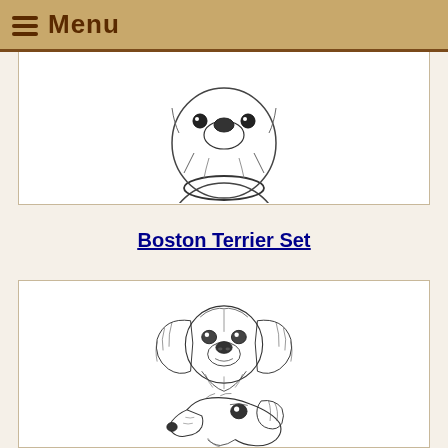Menu
[Figure (illustration): Partial pencil sketch of a dog's head (viewed from above/front angle), only the lower portion visible, cropped at top of card]
Boston Terrier Set
[Figure (illustration): Two pencil sketch illustrations of dachshund dog heads: one frontal view showing long floppy ears, and one side profile view]